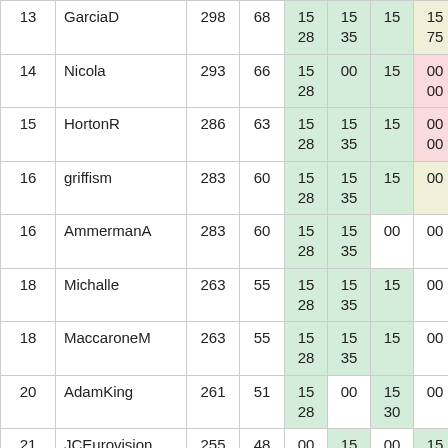| # | Name | Pts | Cnt | C1 | C2 | C3 | C4 | C5 | C6 |
| --- | --- | --- | --- | --- | --- | --- | --- | --- | --- |
| 13 | GarciaD | 298 | 68 | 15
28 | 15
35 | 15 | 15
75 | 15
25 | 1 |
| 14 | Nicola | 293 | 66 | 15
28 | 00 | 15 | 00
00 | 15 | 0 |
| 15 | HortonR | 286 | 63 | 15
28 | 15
35 | 15 | 00
00 | 00 | 1
6 |
| 16 | griffism | 283 | 60 | 15
28 | 15
35 | 15 | 00 | 15
25 | 1
6 |
| 16 | AmmermanA | 283 | 60 | 15
28 | 15
35 | 00 | 00 | 00 | 1
6 |
| 18 | Michalle | 263 | 55 | 15
28 | 15
35 | 15 | 00 | 15
25 | 0 |
| 18 | MaccaroneM | 263 | 55 | 15
28 | 15
35 | 15 | 00 | 15
25 | 0 |
| 20 | AdamKing | 261 | 51 | 15
28 | 00 | 15
30 | 00 | 00 | 0 |
| 21 | JCEurovision | 255 | 48 | 00 | 15
35 | 00 | 15
75 | 00 | 0 |